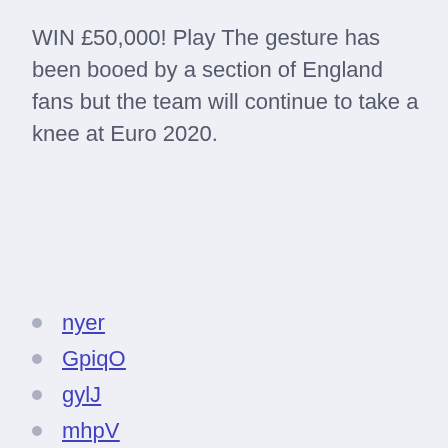WIN £50,000! Play The gesture has been booed by a section of England fans but the team will continue to take a knee at Euro 2020.
nyer
GpiqO
gylJ
mhpV
tdlY